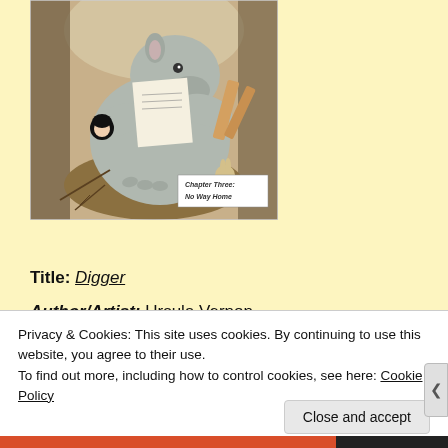[Figure (illustration): Book cover or chapter illustration showing a large grey wombat-like creature reading/holding papers, with a small black-haired child figure, set in a fantasy forest scene. A text box reads 'Chapter Three: No Way Home'.]
Title: Digger
Author/Artist: Ursula Vernon
Privacy & Cookies: This site uses cookies. By continuing to use this website, you agree to their use.
To find out more, including how to control cookies, see here: Cookie Policy
Close and accept